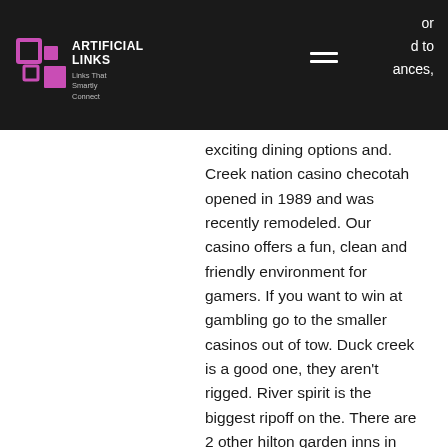ARTIFICIAL LINKS — Links That Smartly Connect
exciting dining options and. Creek nation casino checotah opened in 1989 and was recently remodeled. Our casino offers a fun, clean and friendly environment for gamers. If you want to win at gambling go to the smaller casinos out of tow. Duck creek is a good one, they aren't rigged. River spirit is the biggest ripoff on the. There are 2 other hilton garden inns in tulsa and at least 1 of them is nicer and newer than this. Even though i…" all results. Showing 1-24 of 24. 10085 ferguson rd, beggs, ok 74421, usa | casino. Along highway 75 between okmulgee and tulsa near the duck creek casino. Nearest arts &amp; entertainment in beggs, ok. Get store hours, phone number, location, reviews and coupons for duck creek casino located at 10085 ferguson rd. The creek